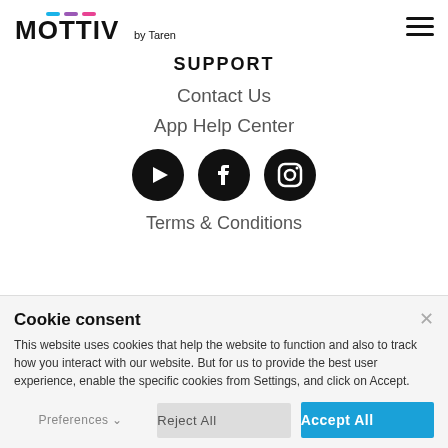[Figure (logo): MOTTIV by Taren logo with colorful accent bars above letters]
SUPPORT
Contact Us
App Help Center
[Figure (infographic): Three social media icons: YouTube, Facebook, Instagram — black circles with white logos]
Terms & Conditions
Cookie consent
This website uses cookies that help the website to function and also to track how you interact with our website. But for us to provide the best user experience, enable the specific cookies from Settings, and click on Accept.
Preferences  Reject All  Accept All